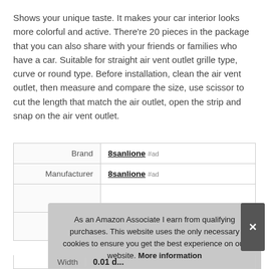Shows your unique taste. It makes your car interior looks more colorful and active. There're 20 pieces in the package that you can also share with your friends or families who have a car. Suitable for straight air vent outlet grille type, curve or round type. Before installation, clean the air vent outlet, then measure and compare the size, use scissor to cut the length that match the air outlet, open the strip and snap on the air vent outlet.
|  |  |
| --- | --- |
| Brand | 8sanlione #ad |
| Manufacturer | 8sanlione #ad |
As an Amazon Associate I earn from qualifying purchases. This website uses the only necessary cookies to ensure you get the best experience on our website. More information